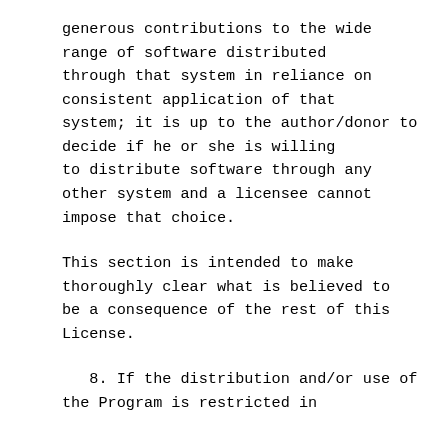generous contributions to the wide range of software distributed through that system in reliance on consistent application of that system; it is up to the author/donor to decide if he or she is willing to distribute software through any other system and a licensee cannot impose that choice.
This section is intended to make thoroughly clear what is believed to be a consequence of the rest of this License.
8. If the distribution and/or use of the Program is restricted in